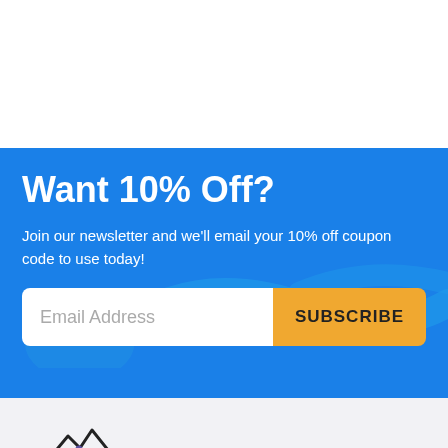Want 10% Off?
Join our newsletter and we'll email your 10% off coupon code to use today!
Email Address
SUBSCRIBE
[Figure (logo): Pet Mountain logo with mountain/paw print icon and text 'petmountain']
M-F: 8 am - 5 pm PT